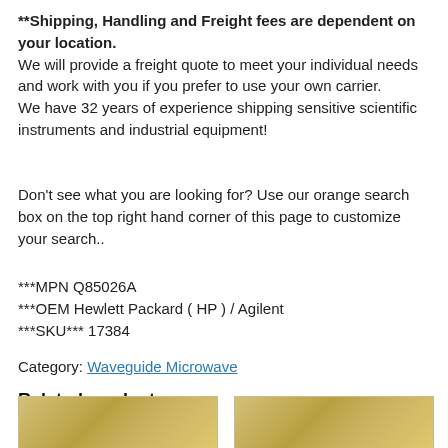**Shipping, Handling and Freight fees are dependent on your location.
We will provide a freight quote to meet your individual needs and work with you if you prefer to use your own carrier.
We have 32 years of experience shipping sensitive scientific instruments and industrial equipment!
Don't see what you are looking for? Use our orange search box on the top right hand corner of this page to customize your search..
***MPN Q85026A
***OEM Hewlett Packard ( HP ) / Agilent
***SKU*** 17384
Category: Waveguide Microwave
Related products
[Figure (photo): Two product photos of waveguide microwave components (gold/brass colored)]